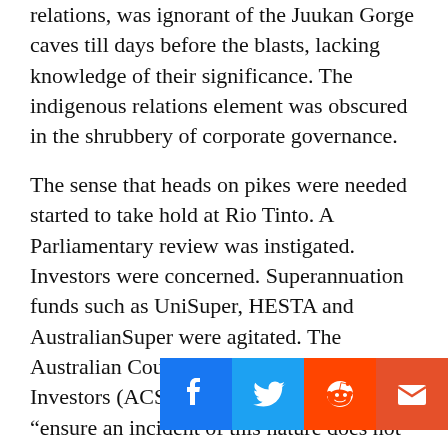relations, was ignorant of the Juukan Gorge caves till days before the blasts, lacking knowledge of their significance. The indigenous relations element was obscured in the shrubbery of corporate governance.
The sense that heads on pikes were needed started to take hold at Rio Tinto. A Parliamentary review was instigated. Investors were concerned. Superannuation funds such as UniSuper, HESTA and AustralianSuper were agitated. The Australian Council of Superannuation Investors (ACSI) demanded changes to “ensure an incident of this nature does not happen again and what accountability there will be for the issues identified.”
Interest centred on what might happen to Jacques, chief executive of iron ore Chris Salisbury, and Niven. The board, led by Simon Thompson, initially felt that withholding bonuses and releasing their own review of the incident by Michael L’Estrange were worth pacifying the critics. ACSI chief Louise Davidson